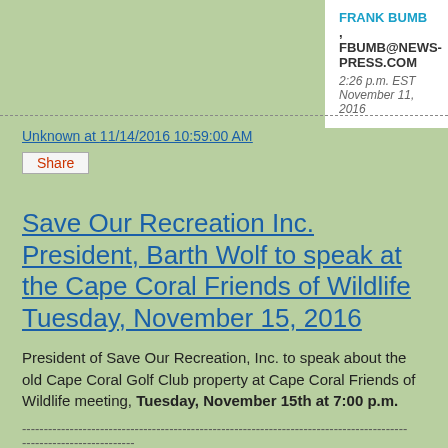FRANK BUMB , FBUMB@NEWS-PRESS.COM
2:26 p.m. EST November 11, 2016
Unknown at 11/14/2016 10:59:00 AM
Share
Save Our Recreation Inc. President, Barth Wolf to speak at the Cape Coral Friends of Wildlife Tuesday, November 15, 2016
President of Save Our Recreation, Inc. to speak about the old Cape Coral Golf Club property at Cape Coral Friends of Wildlife meeting, Tuesday, November 15th at 7:00 p.m.
Barth Wolf, president of Save Our Recreation, will be the guest